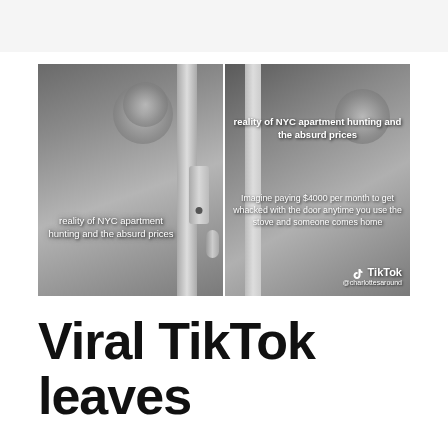[Figure (screenshot): Two side-by-side TikTok video screenshots showing a NYC apartment where the refrigerator door blocks the stove. Left panel text: 'reality of NYC apartment hunting and the absurd prices'. Right panel text: 'reality of NYC apartment hunting and the absurd prices' and 'Imagine paying $4000 per month to get whacked with the door anytime you use the stove and someone comes home'. TikTok watermark and @charlottesaround handle visible.]
Viral TikTok leaves